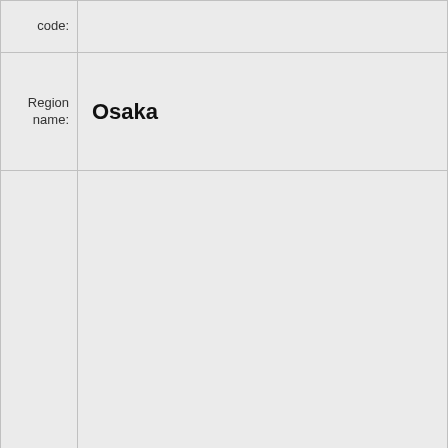| Label | Value |
| --- | --- |
| code: |  |
| Region name: | Osaka |
|  |  |